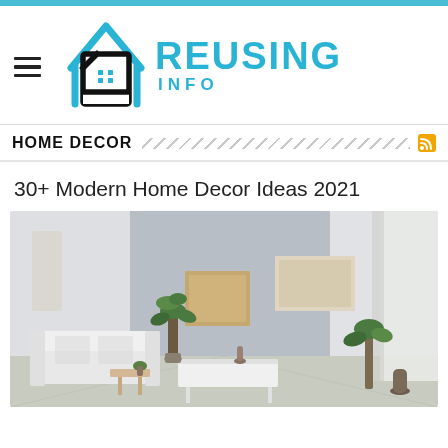[Figure (logo): Reusing.info logo with house icon in black and blue, with hamburger menu icon on left]
HOME DECOR
30+ Modern Home Decor Ideas 2021
[Figure (photo): Modern living room interior with gray walls, white sofa, green plants, wooden side table, wall art frames, and white curtains]